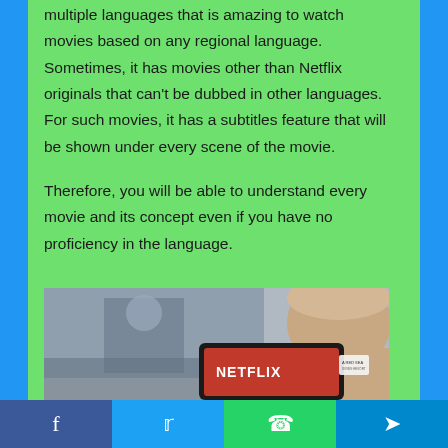multiple languages that is amazing to watch movies based on any regional language. Sometimes, it has movies other than Netflix originals that can't be dubbed in other languages. For such movies, it has a subtitles feature that will be shown under every scene of the movie.
Therefore, you will be able to understand every movie and its concept even if you have no proficiency in the language.
[Figure (photo): Person holding a tablet showing the Netflix logo, with a TV screen blurred in the background]
Facebook | Twitter | WhatsApp | Telegram share buttons